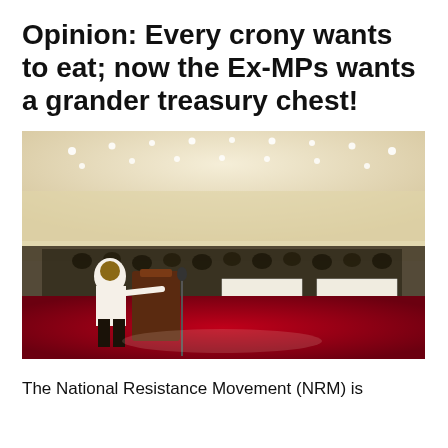Opinion: Every crony wants to eat; now the Ex-MPs wants a grander treasury chest!
[Figure (photo): A person in a white shirt stands at a podium with a microphone speaking to a large seated audience in a grand hall with recessed ceiling lights and red carpet floor.]
The National Resistance Movement (NRM) is